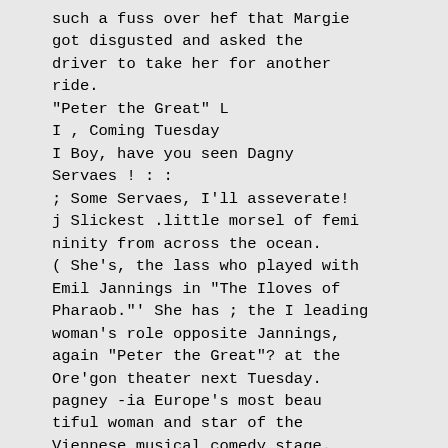such a fuss over hef that Margie got disgusted and asked the driver to take her for another ride.
"Peter the Great" L
I , Coming Tuesday
I Boy, have you seen Dagny Servaes ! : :
; Some Servaes, I'll asseverate!
j Slickest .little morsel of femi ninity from across the ocean.
( She's, the lass who played with Emil Jannings in "The Iloves of Pharaob."' She has ; the I leading woman's role opposite Jannings, again "Peter the Great"? at the Ore'gon theater next Tuesday. pagney -ia Europe's most beau tiful woman and star of the Viennese musical comedy stage.
; We've seen most of these dames the films have brought from over the briny,: Pola Negri heads the list for warmth, SIgrid Holmquist